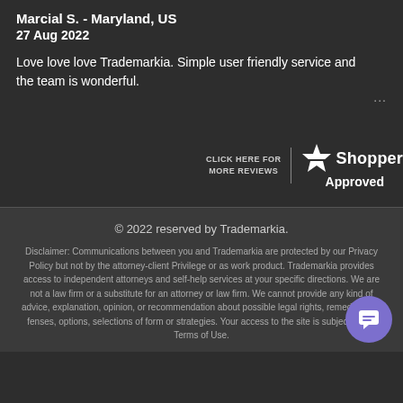Marcial S.  -  Maryland, US
27 Aug 2022
Love love love Trademarkia. Simple user friendly service and the team is wonderful.
[Figure (logo): Shoppers Approved badge with star icon and text CLICK HERE FOR MORE REVIEWS]
© 2022 reserved by Trademarkia.

Disclaimer: Communications between you and Trademarkia are protected by our Privacy Policy but not by the attorney-client Privilege or as work product. Trademarkia provides access to independent attorneys and self-help services at your specific directions. We are not a law firm or a substitute for an attorney or law firm. We cannot provide any kind of advice, explanation, opinion, or recommendation about possible legal rights, remedies, defenses, options, selections of form or strategies. Your access to the site is subject to our Terms of Use.